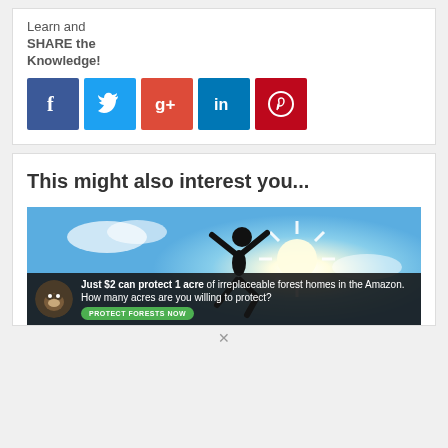Learn and SHARE the Knowledge!
[Figure (infographic): Social share buttons: Facebook (blue), Twitter (light blue), Google+ (red-orange), LinkedIn (dark blue), Pinterest (dark red)]
This might also interest you...
[Figure (photo): Person silhouetted jumping in the air against a bright sun and blue sky with clouds]
[Figure (infographic): Advertisement banner: monkey/animal image on left, text 'Just $2 can protect 1 acre of irreplaceable forest homes in the Amazon. How many acres are you willing to protect?' with green 'PROTECT FORESTS NOW' button]